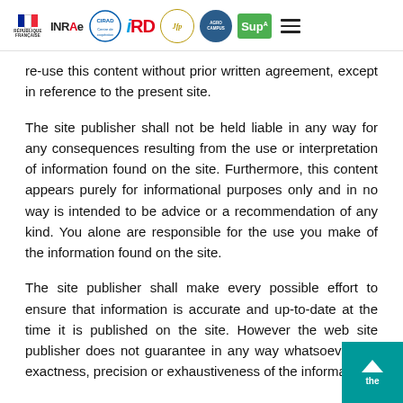Republic of France | INRAE | CIRAD | IRD | JFP | AGROCAMPUS | SupA | menu
re-use this content without prior written agreement, except in reference to the present site.
The site publisher shall not be held liable in any way for any consequences resulting from the use or interpretation of information found on the site. Furthermore, this content appears purely for informational purposes only and in no way is intended to be advice or a recommendation of any kind. You alone are responsible for the use you make of the information found on the site.
The site publisher shall make every possible effort to ensure that information is accurate and up-to-date at the time it is published on the site. However the web site publisher does not guarantee in any way whatsoever the exactness, precision or exhaustiveness of the information